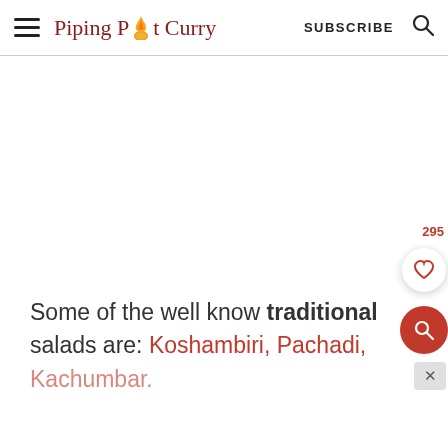Piping Pot Curry — SUBSCRIBE
[Figure (screenshot): White blank content/advertisement area]
Some of the well know traditional salads are: Koshambiri, Pachadi, Kachumbar.